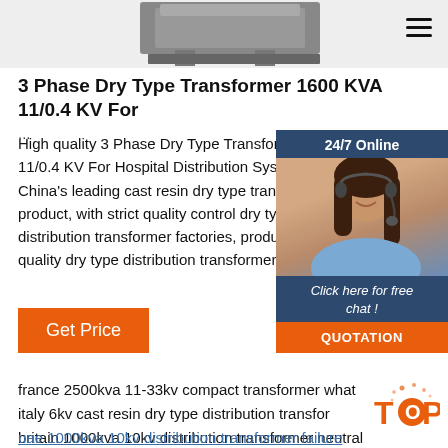[Figure (photo): Partial view of a 3 Phase Dry Type Transformer product photo at top of page]
3 Phase Dry Type Transformer 1600 KVA 11/0.4 KV For ...
High quality 3 Phase Dry Type Transformer 1600 KVA 11/0.4 KV For Hospital Distribution System from China's leading cast resin dry type transformer product, with strict quality control dry type distribution transformer factories, producing quality dry type distribution transformer
[Figure (photo): 24/7 Online chat widget with photo of female customer service representative wearing headset, with 'Click here for free chat!' text and QUOTATION button]
france 2500kva 11-33kv compact transformer what is italy 6kv cast resin dry type distribution transformer af britain 1000kva 10kv distribution transformer neutral grounding
uae 1000kva 10kv distribution transformer failure